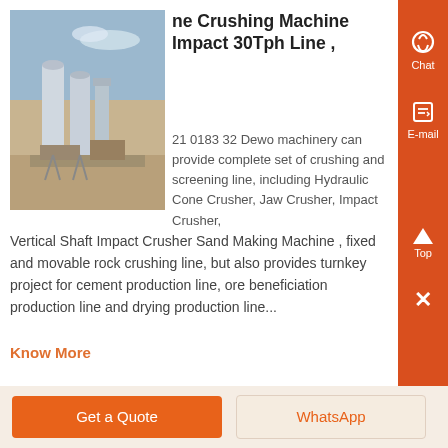[Figure (photo): Industrial machinery / crushing plant with silos and equipment on a flat terrain]
ne Crushing Machine Impact 30Tph Line ,
21 0183 32 Dewo machinery can provide complete set of crushing and screening line, including Hydraulic Cone Crusher, Jaw Crusher, Impact Crusher, Vertical Shaft Impact Crusher Sand Making Machine , fixed and movable rock crushing line, but also provides turnkey project for cement production line, ore beneficiation production line and drying production line...
Know More